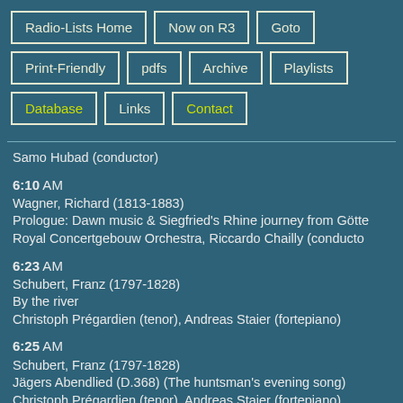Radio-Lists Home
Now on R3
Goto
Print-Friendly
pdfs
Archive
Playlists
Database
Links
Contact
Samo Hubad (conductor)
6:10 AM
Wagner, Richard (1813-1883)
Prologue: Dawn music & Siegfried's Rhine journey from Götte
Royal Concertgebouw Orchestra, Riccardo Chailly (conducto
6:23 AM
Schubert, Franz (1797-1828)
By the river
Christoph Prégardien (tenor), Andreas Staier (fortepiano)
6:25 AM
Schubert, Franz (1797-1828)
Jägers Abendlied (D.368) (The huntsman's evening song)
Christoph Prégardien (tenor), Andreas Staier (fortepiano)